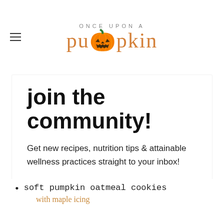ONCE UPON A pumpkin
join the community!
Get new recipes, nutrition tips & attainable wellness practices straight to your inbox!
Email address
Subscribe
soft pumpkin oatmeal cookies
with maple icing